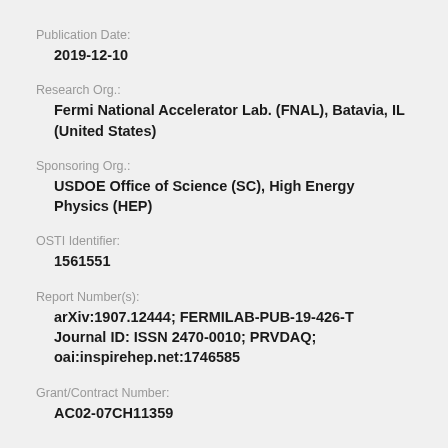Publication Date:
2019-12-10
Research Org.:
Fermi National Accelerator Lab. (FNAL), Batavia, IL (United States)
Sponsoring Org.:
USDOE Office of Science (SC), High Energy Physics (HEP)
OSTI Identifier:
1561551
Report Number(s):
arXiv:1907.12444; FERMILAB-PUB-19-426-T
Journal ID: ISSN 2470-0010; PRVDAQ;
oai:inspirehep.net:1746585
Grant/Contract Number:
AC02-07CH11359